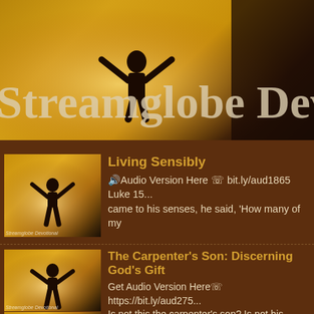[Figure (photo): Hero banner image showing a silhouette of a person with arms raised in golden autumn light, with the text 'Streamglobe Dev' overlaid in large serif font]
Living Sensibly
🔊Audio Version Here ☞ bit.ly/aud1865 Luke 15... came to his senses, he said, 'How many of my
The Carpenter's Son: Discerning God's Gift
Get Audio Version Here☞ https://bit.ly/aud275... Is not this the carpenter's son? Is not his mothe
Foundational Truths 1